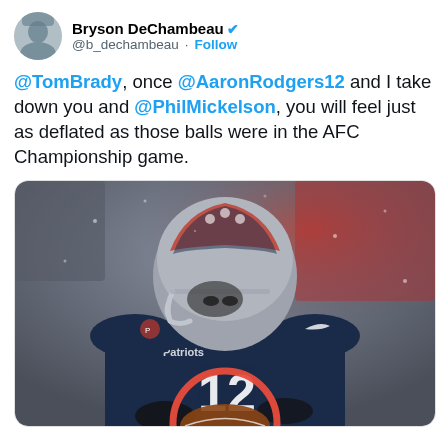Bryson DeChambeau @b_dechambeau · Follow
@TomBrady, once @AaronRodgers12 and I take down you and @PhilMickelson, you will feel just as deflated as those balls were in the AFC Championship game.
[Figure (photo): Photo of Tom Brady (#12) in New England Patriots uniform and helmet, looking down, with a red circle drawn around a football he is holding. Background shows blurred crowd and red/white colors.]